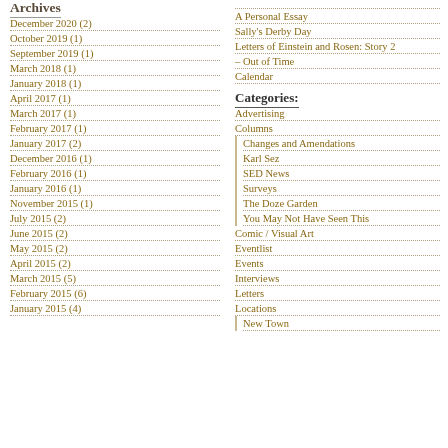Archives
December 2020 (2)
October 2019 (1)
September 2019 (1)
March 2018 (1)
January 2018 (1)
April 2017 (1)
March 2017 (1)
February 2017 (1)
January 2017 (2)
December 2016 (1)
February 2016 (1)
January 2016 (1)
November 2015 (1)
July 2015 (2)
June 2015 (2)
May 2015 (2)
April 2015 (2)
March 2015 (5)
February 2015 (6)
January 2015 (4)
A Personal Essay
Sally's Derby Day
Letters of Einstein and Rosen: Story 2
– Out of Time
Calendar
Categories:
Advertising
Columns
Changes and Amendations
Karl Sez
SED News
Surveys
The Doze Garden
You May Not Have Seen This
Comic / Visual Art
Eventlist
Events
Interviews
Letters
Locations
New Town